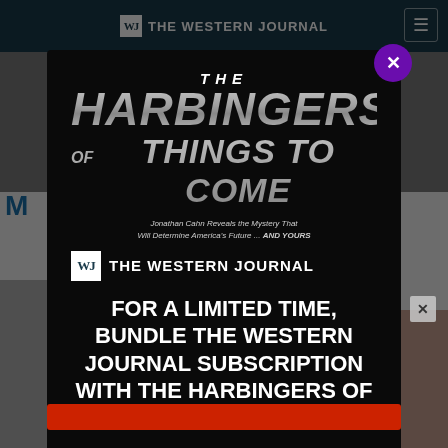THE WESTERN JOURNAL
[Figure (screenshot): The Western Journal website page partially visible behind modal overlay, showing navigation bar, partial article image, and partial article content]
[Figure (illustration): Modal popup advertisement for 'The Harbingers of Things to Come' movie bundle with The Western Journal subscription. Contains movie title graphic with metallic text styling, subtitle 'Jonathan Cahn Reveals the Mystery That Will Determine America's Future ... AND YOURS', The Western Journal logo, and promotional call-to-action text.]
FOR A LIMITED TIME, BUNDLE THE WESTERN JOURNAL SUBSCRIPTION WITH THE HARBINGERS OF THINGS TO COME MOVIE